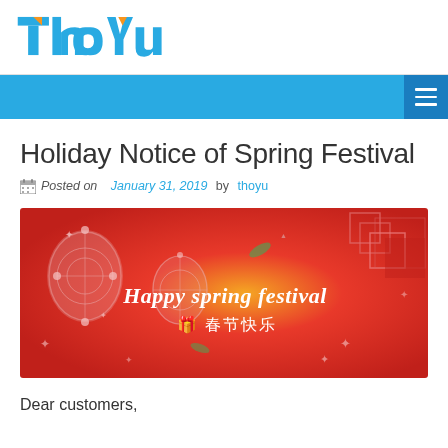[Figure (logo): ThoYu company logo with blue and orange colors]
[Figure (illustration): Blue navigation bar with hamburger menu icon on the right]
Holiday Notice of Spring Festival
Posted on January 31, 2019 by thoyu
[Figure (illustration): Red Spring Festival banner with Chinese lanterns and text 'Happy spring festival' and '春节快乐']
Dear customers,